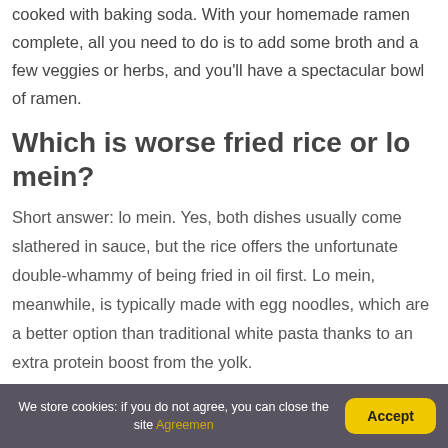cooked with baking soda. With your homemade ramen complete, all you need to do is to add some broth and a few veggies or herbs, and you'll have a spectacular bowl of ramen.
Which is worse fried rice or lo mein?
Short answer: lo mein. Yes, both dishes usually come slathered in sauce, but the rice offers the unfortunate double-whammy of being fried in oil first. Lo mein, meanwhile, is typically made with egg noodles, which are a better option than traditional white pasta thanks to an extra protein boost from the yolk.
We store cookies: if you do not agree, you can close the site Agreemen